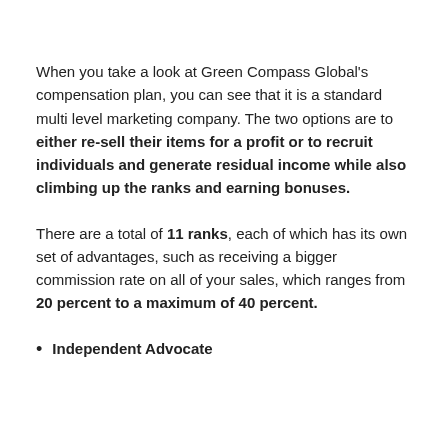When you take a look at Green Compass Global's compensation plan, you can see that it is a standard multi level marketing company. The two options are to either re-sell their items for a profit or to recruit individuals and generate residual income while also climbing up the ranks and earning bonuses.
There are a total of 11 ranks, each of which has its own set of advantages, such as receiving a bigger commission rate on all of your sales, which ranges from 20 percent to a maximum of 40 percent.
Independent Advocate